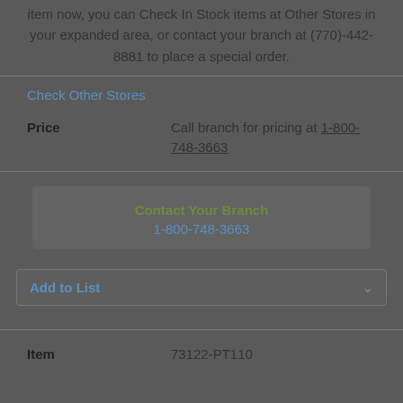item now, you can Check In Stock items at Other Stores in your expanded area, or contact your branch at (770)-442-8881 to place a special order.
Check Other Stores
Price   Call branch for pricing at 1-800-748-3663
Contact Your Branch
1-800-748-3663
Add to List
Item   73122-PT110